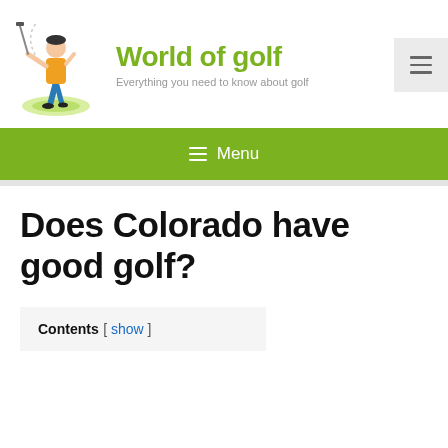[Figure (logo): World of golf website logo: illustration of a male golfer in orange shirt and blue pants mid-swing on a green patch]
World of golf
Everything you need to know about golf
[Figure (other): Hamburger menu icon button (three horizontal lines) on a light grey background]
≡ Menu
Does Colorado have good golf?
Contents [ show ]